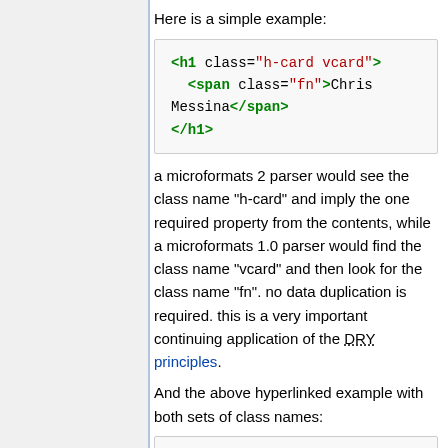Here is a simple example:
<h1 class="h-card vcard">
  <span class="fn">Chris Messina</span>
</h1>
a microformats 2 parser would see the class name "h-card" and imply the one required property from the contents, while a microformats 1.0 parser would find the class name "vcard" and then look for the class name "fn". no data duplication is required. this is a very important continuing application of the DRY principles.
And the above hyperlinked example with both sets of class names:
<h1 class="h-card vcard">